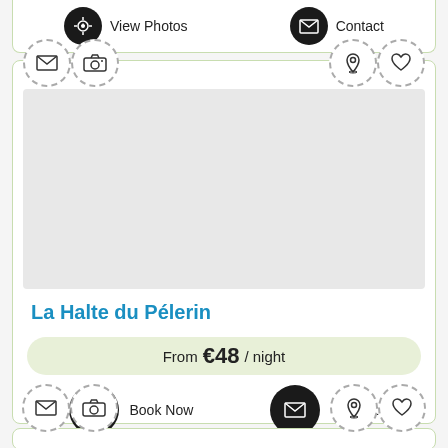[Figure (screenshot): Top partial card showing View Photos and Contact buttons at top of page]
[Figure (screenshot): Listing card for La Halte du Pélerin with icons, empty photo area, title, price From €48 / night, and Book Now / Contact buttons]
La Halte du Pélerin
From €48 / night
Book Now
Contact
[Figure (screenshot): Bottom partial card showing icon row with mail, camera, location pin, and heart icons]